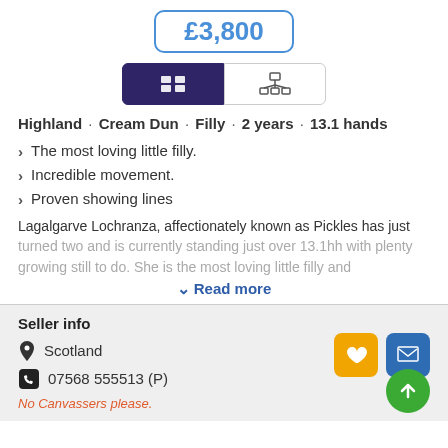£3,800
[Figure (other): Toggle button row: left button active (dark purple) with grid/list icon, right button inactive (white) with org-chart icon]
Highland · Cream Dun · Filly · 2 years · 13.1 hands
The most loving little filly.
Incredible movement.
Proven showing lines
Lagalgarve Lochranza, affectionately known as Pickles has just turned two and is currently standing just over 13.1hh with plenty growing still to do. She is the most loving little filly and
Read more
Seller info
Scotland
07568 555513 (P)
No Canvassers please.